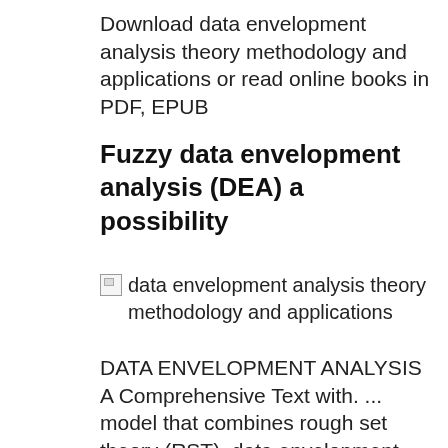Download data envelopment analysis theory methodology and applications or read online books in PDF, EPUB
Fuzzy data envelopment analysis (DEA) a possibility
[Figure (illustration): Broken image placeholder with alt text: data envelopment analysis theory methodology and applications]
DATA ENVELOPMENT ANALYSIS A Comprehensive Text with. ... model that combines rough set theory (RST), data envelopment analysis (DEA data-set are utilized to demonstrate the accuracy of the proposed method., Buy Data Envelopment Analysis: Theory, Methodology, and Applications on